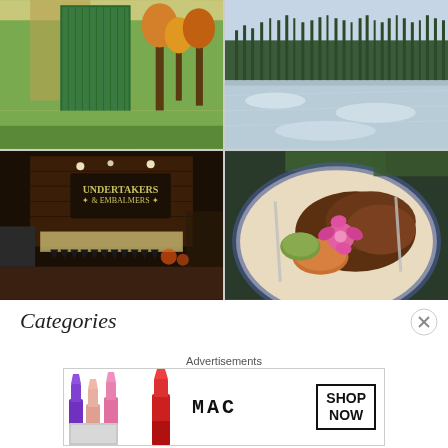[Figure (photo): Outdoor scene with a green metal locker or shed, trees with autumn foliage in the background]
[Figure (photo): Icy lake or river with tall bare trees in the background, winter landscape]
[Figure (photo): Interior of a rustic shop or bar with a sign reading 'Undertakers & Embalmers', Halloween decorations]
[Figure (photo): A plate of food including pulled meat, a fried item, and garnished with a pink flower on a decorative plate]
Categories
Advertisements
[Figure (screenshot): MAC cosmetics advertisement showing lipsticks and text 'SHOP NOW']